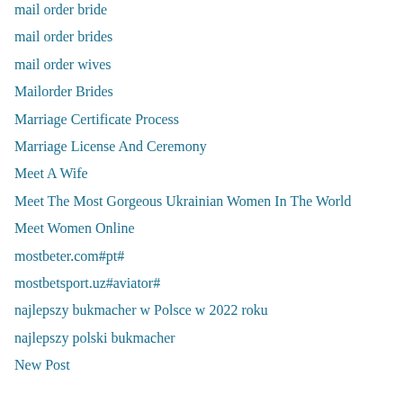mail order bride
mail order brides
mail order wives
Mailorder Brides
Marriage Certificate Process
Marriage License And Ceremony
Meet A Wife
Meet The Most Gorgeous Ukrainian Women In The World
Meet Women Online
mostbeter.com#pt#
mostbetsport.uz#aviator#
najlepszy bukmacher w Polsce w 2022 roku
najlepszy polski bukmacher
New Post